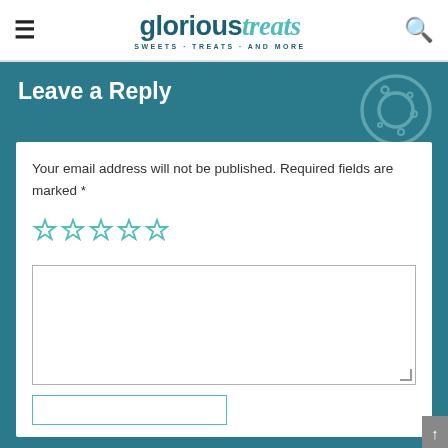glorious treats — SWEETS · TREATS · AND MORE
Leave a Reply
Your email address will not be published. Required fields are marked *
[Figure (other): Five empty star rating icons in teal/cyan color]
[Figure (other): Empty comment text area input box]
[Figure (other): Empty name input field (partial, bottom of page)]